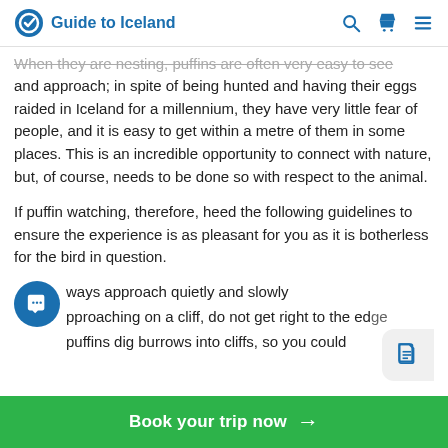Guide to Iceland
When they are nesting, puffins are often very easy to see and approach; in spite of being hunted and having their eggs raided in Iceland for a millennium, they have very little fear of people, and it is easy to get within a metre of them in some places. This is an incredible opportunity to connect with nature, but, of course, needs to be done so with respect to the animal.
If puffin watching, therefore, heed the following guidelines to ensure the experience is as pleasant for you as it is botherless for the bird in question.
Always approach quietly and slowly
If approaching on a cliff, do not get right to the edge; puffins dig burrows into cliffs, so you could
Book your trip now →